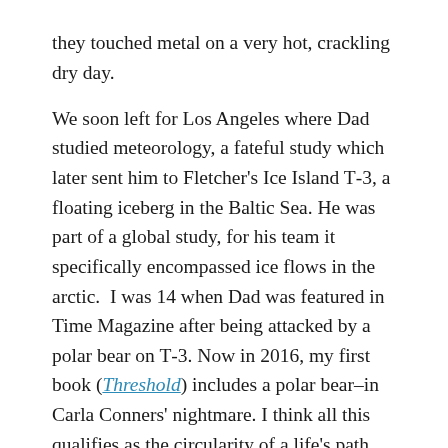they touched metal on a very hot, crackling dry day.
We soon left for Los Angeles where Dad studied meteorology, a fateful study which later sent him to Fletcher's Ice Island T-3, a floating iceberg in the Baltic Sea. He was part of a global study, for his team it specifically encompassed ice flows in the arctic.  I was 14 when Dad was featured in Time Magazine after being attacked by a polar bear on T-3. Now in 2016, my first book (Threshold) includes a polar bear–in Carla Conners' nightmare. I think all this qualifies as the circularity of a life's path.